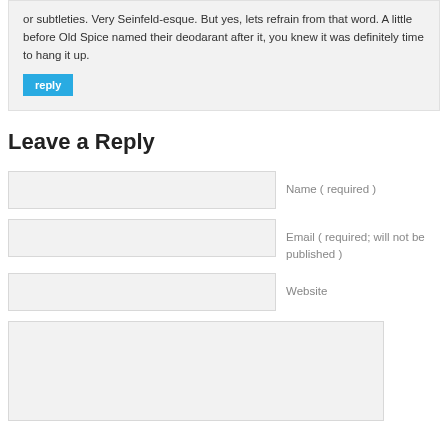or subtleties. Very Seinfeld-esque. But yes, lets refrain from that word. A little before Old Spice named their deodarant after it, you knew it was definitely time to hang it up.
reply
Leave a Reply
Name ( required )
Email ( required; will not be published )
Website